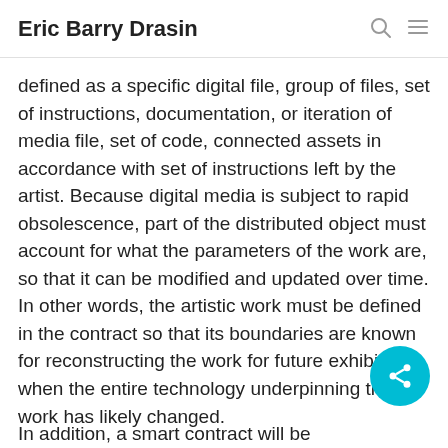Eric Barry Drasin
defined as a specific digital file, group of files, set of instructions, documentation, or iteration of media file, set of code, connected assets in accordance with set of instructions left by the artist. Because digital media is subject to rapid obsolescence, part of the distributed object must account for what the parameters of the work are, so that it can be modified and updated over time. In other words, the artistic work must be defined in the contract so that its boundaries are known for reconstructing the work for future exhibitions when the entire technology underpinning the work has likely changed.
In addition, a smart contract will be